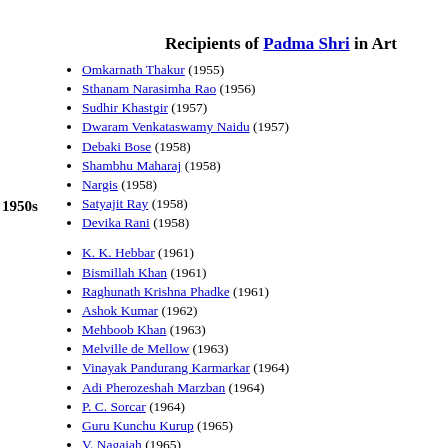Recipients of Padma Shri in Art
Omkarnath Thakur (1955)
Sthanam Narasimha Rao (1956)
Sudhir Khastgir (1957)
Dwaram Venkataswamy Naidu (1957)
Debaki Bose (1958)
Shambhu Maharaj (1958)
Nargis (1958)
Satyajit Ray (1958)
Devika Rani (1958)
K. K. Hebbar (1961)
Bismillah Khan (1961)
Raghunath Krishna Phadke (1961)
Ashok Kumar (1962)
Mehboob Khan (1963)
Melville de Mellow (1963)
Vinayak Pandurang Karmarkar (1964)
Adi Pherozeshah Marzban (1964)
P. C. Sorcar (1964)
Guru Kunchu Kurup (1965)
V. Nagaiah (1965)
Ravishankar Raval (1965)
Mrinalini Sarabhai (1965)